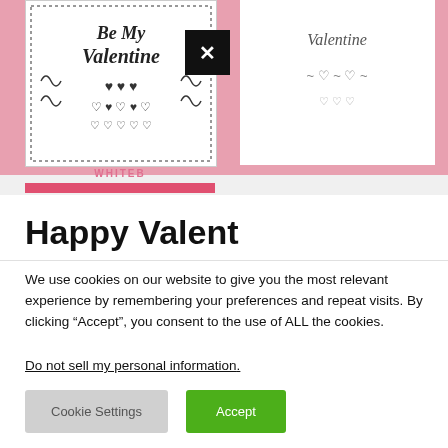[Figure (illustration): Valentine's Day coloring card showing 'Be My Valentine' text surrounded by hearts and decorative swirls, black and white line art on white background, displayed on a pink background. A black X/close button overlaps the image. A second partially visible card is on the right.]
WHITEB
Happy Valent
We use cookies on our website to give you the most relevant experience by remembering your preferences and repeat visits. By clicking “Accept”, you consent to the use of ALL the cookies.
Do not sell my personal information.
Cookie Settings
Accept